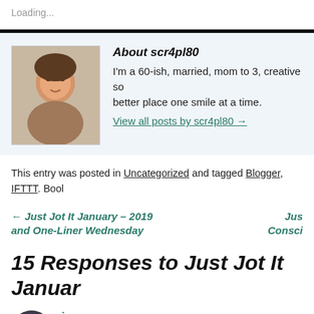Loading...
About scr4pl80
I'm a 60-ish, married, mom to 3, creative so better place one smile at a time.
View all posts by scr4pl80 →
This entry was posted in Uncategorized and tagged Blogger, IFTTT. Boo
← Just Jot It January – 2019 and One-Liner Wednesday
Jus Consci
15 Responses to Just Jot It Januar
joey says:
January 20, 2019 at 8:21 am